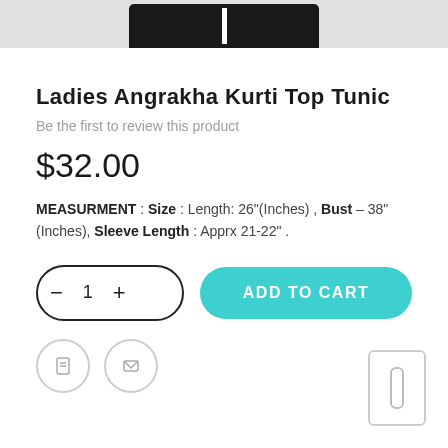[Figure (photo): Partial product image of Ladies Angrakha Kurti Top Tunic visible at top of page]
Ladies Angrakha Kurti Top Tunic
Be the first to review this product
$32.00
MEASURMENT : Size : Length: 26"(Inches) , Bust – 38" (Inches), Sleeve Length : Apprx 21-22" .